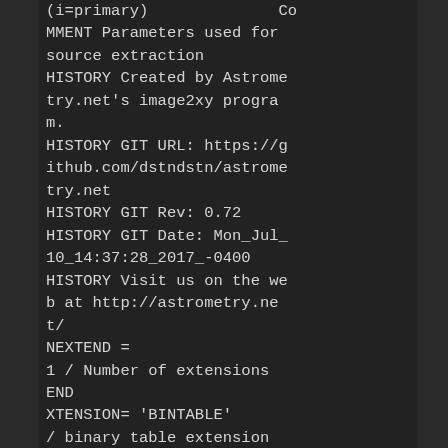(i=primary)              COMMENT Parameters used for source extraction
HISTORY Created by Astrometry.net's image2xy program.
HISTORY GIT URL: https://github.com/dstndstn/astrometry.net
HISTORY GIT Rev: 0.72
HISTORY GIT Date: Mon_Jul_10_14:37:28_2017_-0400
HISTORY Visit us on the web at http://astrometry.net/
NEXTEND =
1 / Number of extensions
END
XTENSION= 'BINTABLE'
/ binary table extension
BITPIX  =
8 / 8-bit bytes
NAXIS   =
2 / 2-dimensional binary table                N